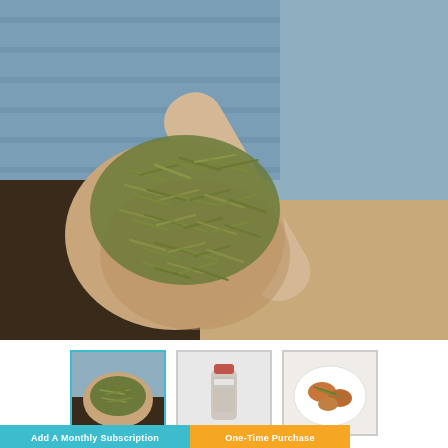[Figure (photo): A wooden spoon filled with dried rosemary herbs, resting on a wooden cutting board with a blue textile in the background.]
[Figure (photo): Thumbnail 1: dried rosemary on a wooden spoon (active/selected, cyan border)]
[Figure (photo): Thumbnail 2: a spice shaker bottle with red cap containing dried rosemary]
[Figure (photo): Thumbnail 3: a dish with food (chicken or similar) topped with rosemary spice]